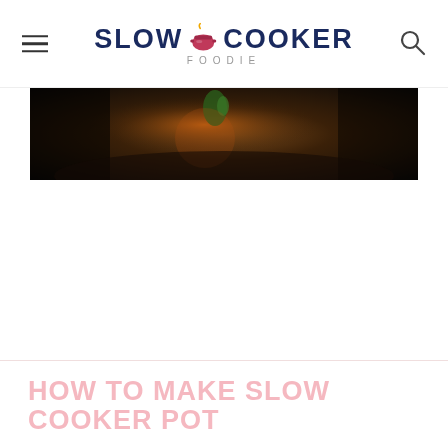Slow Cooker Foodie
[Figure (photo): Dark moody food photography showing a slow cooker pot with herbs, partially cropped at the top of the page]
HOW TO MAKE SLOW COOKER POT